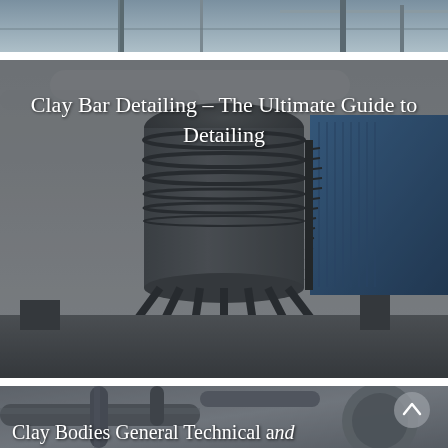[Figure (photo): Partial view of industrial facility, top portion visible]
[Figure (photo): Industrial silo/tower structure with metal legs and staircase, blue building in background, overcast sky]
Clay Bar Detailing – The Ultimate Guide to Detailing
[Figure (photo): Industrial pipes and equipment, partially visible at bottom of page]
Clay Bodies General Technical and